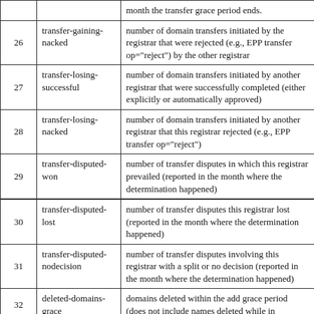| # | Field Name | Description |
| --- | --- | --- |
|  |  | month the transfer grace period ends. |
| 26 | transfer-gaining-nacked | number of domain transfers initiated by the registrar that were rejected (e.g., EPP transfer op="reject") by the other registrar |
| 27 | transfer-losing-successful | number of domain transfers initiated by another registrar that were successfully completed (either explicitly or automatically approved) |
| 28 | transfer-losing-nacked | number of domain transfers initiated by another registrar that this registrar rejected (e.g., EPP transfer op="reject") |
| 29 | transfer-disputed-won | number of transfer disputes in which this registrar prevailed (reported in the month where the determination happened) |
| 30 | transfer-disputed-lost | number of transfer disputes this registrar lost (reported in the month where the determination happened) |
| 31 | transfer-disputed-nodecision | number of transfer disputes involving this registrar with a split or no decision (reported in the month where the determination happened) |
| 32 | deleted-domains-grace | domains deleted within the add grace period (does not include names deleted while in |